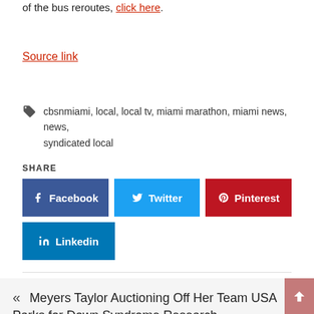of the bus reroutes, click here.
Source link
cbsnmiami, local, local tv, miami marathon, miami news, news, syndicated local
SHARE
[Figure (other): Social share buttons: Facebook, Twitter, Pinterest, Linkedin]
Meyers Taylor Auctioning Off Her Team USA Parks for Down Syndrome Research